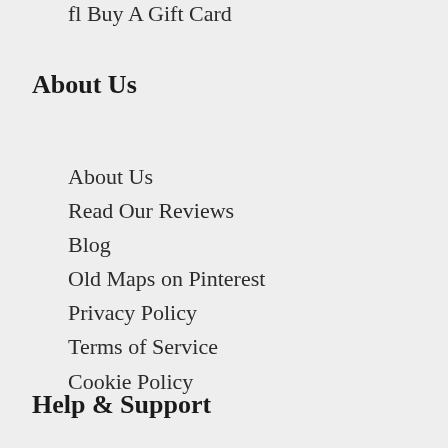fl Buy A Gift Card
About Us
About Us
Read Our Reviews
Blog
Old Maps on Pinterest
Privacy Policy
Terms of Service
Cookie Policy
Help & Support